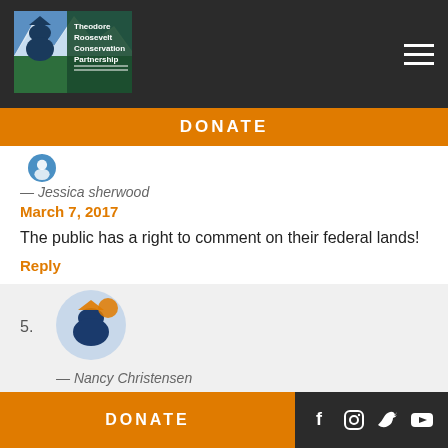[Figure (logo): Theodore Roosevelt Conservation Partnership logo with cowboy silhouette and mountain landscape]
DONATE
— Jessica sherwood
March 7, 2017
The public has a right to comment on their federal lands!
Reply
[Figure (logo): Theodore Roosevelt Conservation Partnership circular avatar logo]
— Nancy Christensen
March 7, 2017
Restore public input on public land.
DONATE
[Figure (other): Social media icons: Facebook, Instagram, Twitter, YouTube]